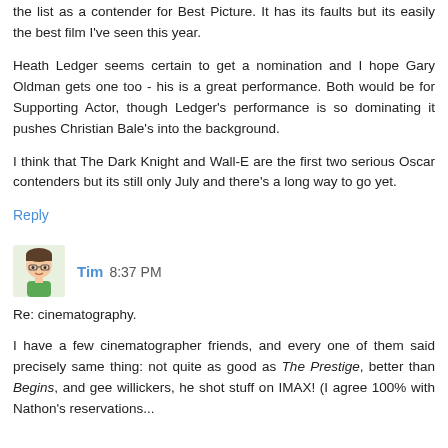the list as a contender for Best Picture. It has its faults but its easily the best film I've seen this year.
Heath Ledger seems certain to get a nomination and I hope Gary Oldman gets one too - his is a great performance. Both would be for Supporting Actor, though Ledger's performance is so dominating it pushes Christian Bale's into the background.
I think that The Dark Knight and Wall-E are the first two serious Oscar contenders but its still only July and there's a long way to go yet.
Reply
Tim 8:37 PM
Re: cinematography.
I have a few cinematographer friends, and every one of them said precisely same thing: not quite as good as The Prestige, better than Begins, and gee willickers, he shot stuff on IMAX! (I agree 100% with Nathon's reservations...